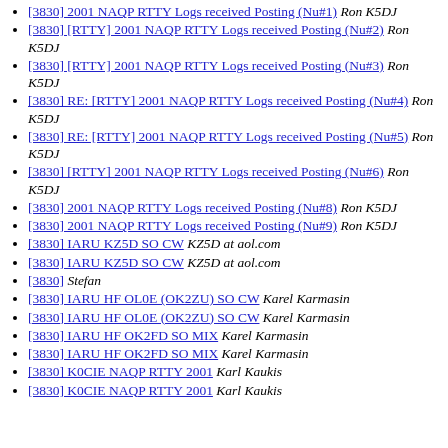[3830] 2001 NAQP RTTY Logs received Posting (Nu#1)  Ron K5DJ
[3830] [RTTY] 2001 NAQP RTTY Logs received Posting (Nu#2)  Ron K5DJ
[3830] [RTTY] 2001 NAQP RTTY Logs received Posting (Nu#3)  Ron K5DJ
[3830] RE: [RTTY] 2001 NAQP RTTY Logs received Posting (Nu#4)  Ron K5DJ
[3830] RE: [RTTY] 2001 NAQP RTTY Logs received Posting (Nu#5)  Ron K5DJ
[3830] [RTTY] 2001 NAQP RTTY Logs received Posting (Nu#6)  Ron K5DJ
[3830] 2001 NAQP RTTY Logs received Posting (Nu#8)  Ron K5DJ
[3830] 2001 NAQP RTTY Logs received Posting (Nu#9)  Ron K5DJ
[3830] IARU KZ5D SO CW  KZ5D at aol.com
[3830] IARU KZ5D SO CW  KZ5D at aol.com
[3830]  Stefan
[3830] IARU HF OL0E (OK2ZU) SO CW  Karel Karmasin
[3830] IARU HF OL0E (OK2ZU) SO CW  Karel Karmasin
[3830] IARU HF OK2FD SO MIX  Karel Karmasin
[3830] IARU HF OK2FD SO MIX  Karel Karmasin
[3830] K0CIE NAQP RTTY 2001  Karl Kaukis
[3830] K0CIE NAQP RTTY 2001  Karl Kaukis